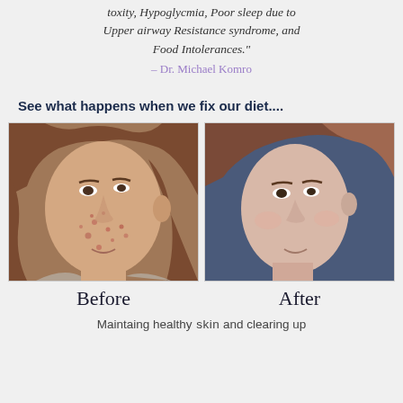toxity, Hypoglycmia, Poor sleep due to Upper airway Resistance syndrome, and Food Intolerances." – Dr. Michael Komro
See what happens when we fix our diet....
[Figure (photo): Before and after comparison photos of a woman's face showing skin improvement. Left photo (Before) shows acne-prone skin, right photo (After) shows clear skin against a blue background.]
Before                    After
Maintaing healthy skin and clearing up